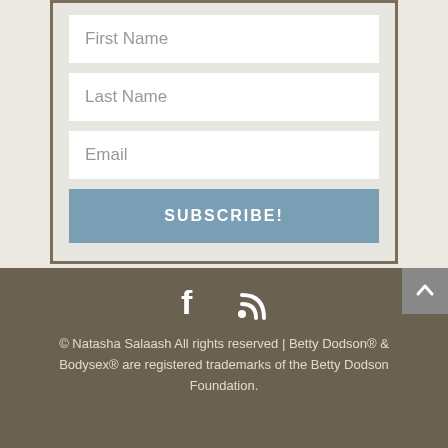[Figure (screenshot): Web form with fields for First Name, Last Name, Email, and a SUBSCRIBE! button, inside a bordered card on a light beige background.]
[Figure (infographic): Social media icons: Facebook (f) and RSS feed icon, displayed in white on a dark brown/taupe footer background.]
© Natasha Salaash All rights reserved | Betty Dodson® & Bodysex® are registered trademarks of the Betty Dodson Foundation.